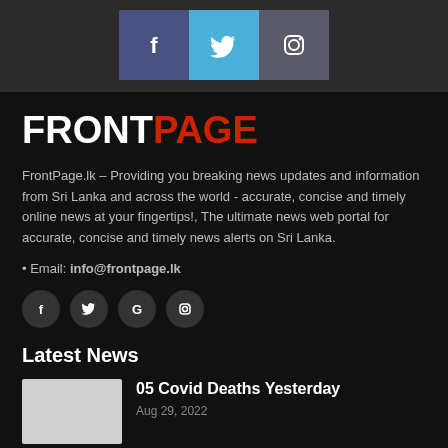[Figure (infographic): Social media icons bar at top: Facebook (dark blue), Twitter (light blue), Instagram (dark gray)]
FRONTPAGE
FrontPage.lk – Providing you breaking news updates and information from Sri Lanka and across the world - accurate, concise and timely online news at your fingertips!, The ultimate news web portal for accurate, concise and timely news alerts on Sri Lanka.
• Email: info@frontpage.lk
[Figure (infographic): Row of 4 social media icon circles: Facebook (f), Twitter (bird), Google (G), Instagram (camera)]
Latest News
05 Covid Deaths Yesterday
Aug 29, 2022